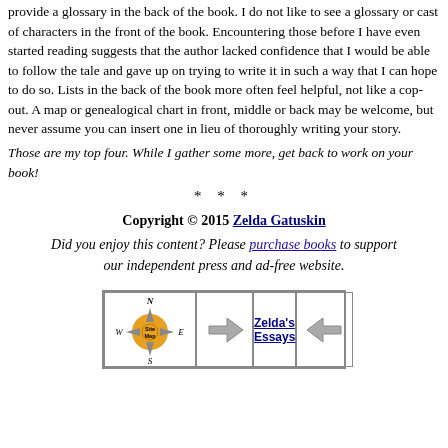provide a glossary in the back of the book. I do not like to see a glossary or cast of characters in the front of the book. Encountering those before I have even started reading suggests that the author lacked confidence that I would be able to follow the tale and gave up on trying to write it in such a way that I can hope to do so. Lists in the back of the book more often feel helpful, not like a cop-out. A map or genealogical chart in front, middle or back may be welcome, but never assume you can insert one in lieu of thoroughly writing your story.
Those are my top four. While I gather some more, get back to work on your book!
* * *
Copyright © 2015 Zelda Gatuskin
Did you enjoy this content? Please purchase books to support our independent press and ad-free website.
[Figure (infographic): Navigation bar with compass rose (Site Map), left arrow, Zelda's Essays link, and right arrow]